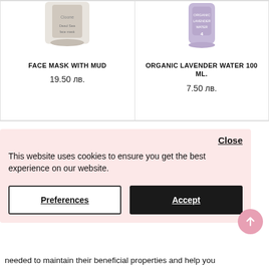[Figure (photo): Product card: Face Mask with Mud, showing partial image of product jar at top]
FACE MASK WITH MUD
19.50 лв.
[Figure (photo): Product card: Organic Lavender Water 100 ML., showing partial image of product bottle at top]
ORGANIC LAVENDER WATER 100 ML.
7.50 лв.
Close
This website uses cookies to ensure you get the best experience on our website.
Preferences  Accept
needed to maintain their beneficial properties and help you